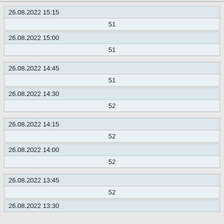| 26.08.2022 15:15 |
| 51 |
| 26.08.2022 15:00 |
| 51 |
| 26.08.2022 14:45 |
| 51 |
| 26.08.2022 14:30 |
| 52 |
| 26.08.2022 14:15 |
| 52 |
| 26.08.2022 14:00 |
| 52 |
| 26.08.2022 13:45 |
| 52 |
| 26.08.2022 13:30 |